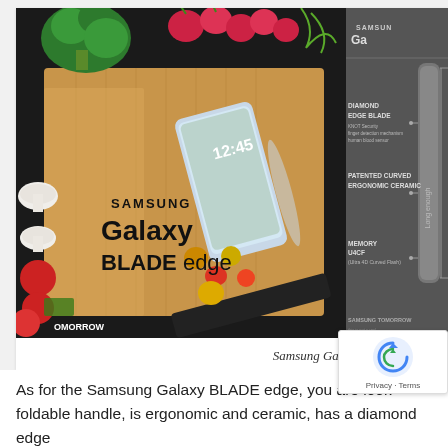[Figure (photo): Two side-by-side images: Left image shows a Samsung Galaxy BLADE edge smartphone styled as a kitchen knife on a wooden cutting board surrounded by vegetables (tomatoes, mushrooms, radishes, broccoli, cherry tomatoes) with text 'SAMSUNG Galaxy BLADE edge' and 'SAMSUNG TOMORROW' watermark. Right image shows a product specification diagram of the Galaxy BLADE edge on a dark gray background with labels: DIAMOND EDGE BLADE (KNOT Security, finger detection mechanism, human blood sensor), PATENTED CURVED ERGONOMIC CERAMIC, MEMORY U4CF (Ultra 4D Curved Flash), SAMSUNG TOMORROW, 'this is not a real product'.]
Samsung Galaxy BLADE edge
As for the Samsung Galaxy BLADE edge, you are look… foldable handle, is ergonomic and ceramic, has a diamond edge…